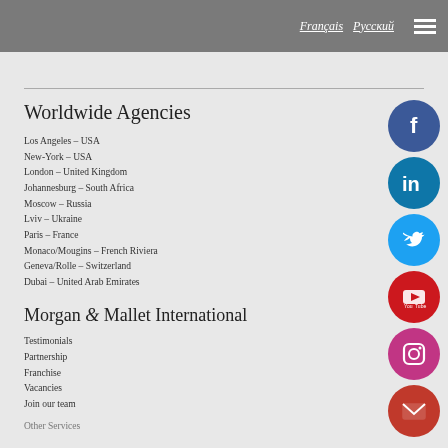Français  Русский
Worldwide Agencies
Los Angeles – USA
New-York – USA
London – United Kingdom
Johannesburg – South Africa
Moscow – Russia
Lviv – Ukraine
Paris – France
Monaco/Mougins – French Riviera
Geneva/Rolle – Switzerland
Dubai – United Arab Emirates
Morgan & Mallet International
Testimonials
Partnership
Franchise
Vacancies
Join our team
Other Services
[Figure (infographic): Social media icons: Facebook, LinkedIn, Twitter, YouTube, Instagram, Email (red envelope)]